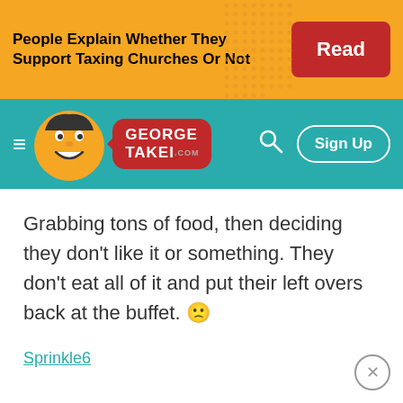[Figure (screenshot): George Takei website ad banner with text 'People Explain Whether They Support Taxing Churches Or Not' and a red 'Read' button on yellow/orange background]
[Figure (screenshot): George Takei website navigation bar with hamburger menu, mascot cartoon illustration, George Takei logo speech bubble in red, search icon, and Sign Up button on teal background]
Grabbing tons of food, then deciding they don't like it or something. They don't eat all of it and put their left overs back at the buffet. 🙁
Sprinkle6